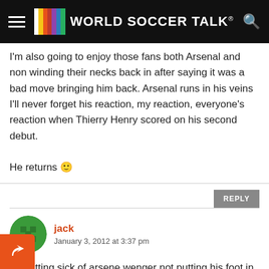World Soccer Talk
I'm also going to enjoy those fans both Arsenal and non winding their necks back in after saying it was a bad move bringing him back. Arsenal runs in his veins I'll never forget his reaction, my reaction, everyone's reaction when Thierry Henry scored on his second debut.
He returns 🙂
jack
January 3, 2012 at 3:37 pm
Im getting sick of arsene wenger not putting his foot in some top quality players in the transfer window. Somehow asharvin diaby and chamakh have remained on the team which blows my mind. He needs to buy experienced players who can play at the fast pace arsenal require. If we want to win, changes need to be made.